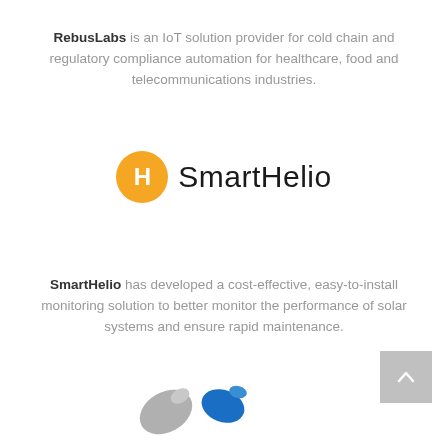RebusLabs is an IoT solution provider for cold chain and regulatory compliance automation for healthcare, food and telecommunications industries.
[Figure (logo): SmartHelio logo — orange circle with white H letter followed by 'SmartHelio' text in thin sans-serif font]
SmartHelio has developed a cost-effective, easy-to-install monitoring solution to better monitor the performance of solar systems and ensure rapid maintenance.
[Figure (logo): Partial logo at bottom of page — gray and blue teardrop/leaf shapes]